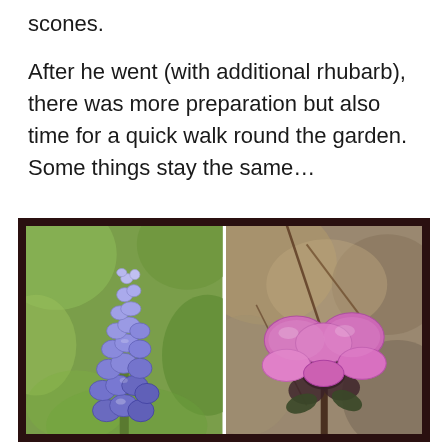scones.
After he went (with additional rhubarb), there was more preparation but also time for a quick walk round the garden. Some things stay the same…
[Figure (photo): Two garden flower photographs side by side in a dark border frame: left photo shows a blue/purple grape hyacinth (Muscari) flower spike against a green bokeh background; right photo shows a pink dead-nettle (Lamium) flower cluster against a blurred brownish background.]